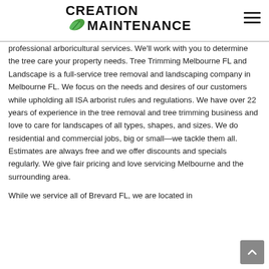CREATION MAINTENANCE
professional arboricultural services. We'll work with you to determine the tree care your property needs. Tree Trimming Melbourne FL and Landscape is a full-service tree removal and landscaping company in Melbourne FL. We focus on the needs and desires of our customers while upholding all ISA arborist rules and regulations. We have over 22 years of experience in the tree removal and tree trimming business and love to care for landscapes of all types, shapes, and sizes. We do residential and commercial jobs, big or small—we tackle them all. Estimates are always free and we offer discounts and specials regularly. We give fair pricing and love servicing Melbourne and the surrounding area.
While we service all of Brevard FL, we are located in